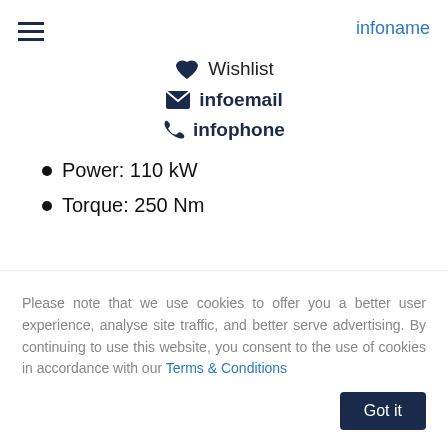infoname
Wishlist
infoemail
infophone
Power: 110 kW
Torque: 250 Nm
Please note that we use cookies to offer you a better user experience, analyse site traffic, and better serve advertising. By continuing to use this website, you consent to the use of cookies in accordance with our Terms & Conditions
Got it